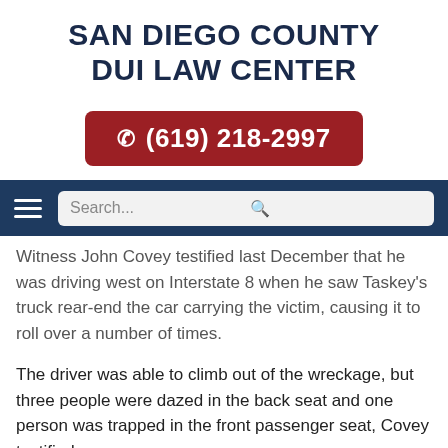SAN DIEGO COUNTY DUI LAW CENTER
[Figure (other): Red rounded rectangle button with phone icon and phone number (619) 218-2997 in white text]
[Figure (other): Dark blue navigation bar with hamburger menu icon on left and a search box with magnifying glass icon on right]
Witness John Covey testified last December that he was driving west on Interstate 8 when he saw Taskey's truck rear-end the car carrying the victim, causing it to roll over a number of times.
The driver was able to climb out of the wreckage, but three people were dazed in the back seat and one person was trapped in the front passenger seat, Covey testified.
Degerman, sitting in the back seat, died of her injuries the